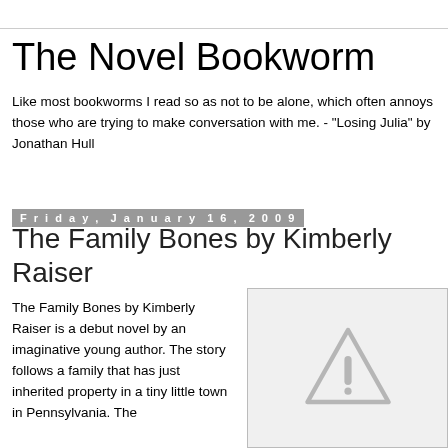The Novel Bookworm
Like most bookworms I read so as not to be alone, which often annoys those who are trying to make conversation with me. - "Losing Julia" by Jonathan Hull
Friday, January 16, 2009
The Family Bones by Kimberly Raiser
[Figure (illustration): Placeholder image with a warning/caution triangle icon on a light gray background]
The Family Bones by Kimberly Raiser is a debut novel by an imaginative young author. The story follows a family that has just inherited property in a tiny little town in Pennsylvania. The